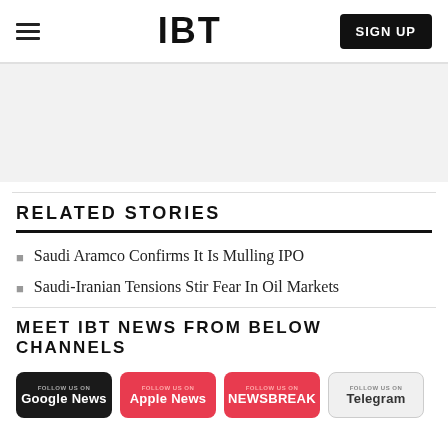IBT — SIGN UP
[Figure (other): Gray advertisement banner area]
RELATED STORIES
Saudi Aramco Confirms It Is Mulling IPO
Saudi-Iranian Tensions Stir Fear In Oil Markets
MEET IBT NEWS FROM BELOW CHANNELS
[Figure (other): Social channel follow badges: Google News, Apple News, NewsBreak, Telegram]